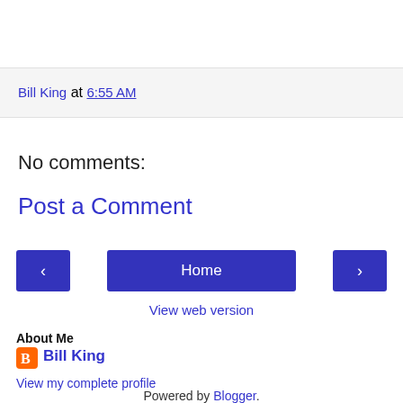Bill King at 6:55 AM
No comments:
Post a Comment
Home
View web version
About Me
Bill King
View my complete profile
Powered by Blogger.